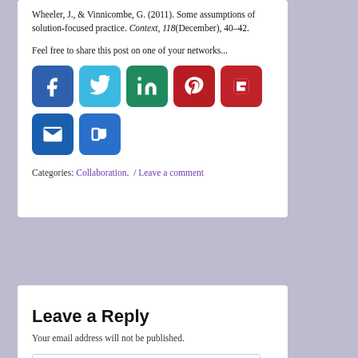Wheeler, J., & Vinnicombe, G. (2011). Some assumptions of solution-focused practice. Context, 118(December), 40–42.
Feel free to share this post on one of your networks...
[Figure (infographic): Social sharing buttons: Facebook, Twitter, LinkedIn, Pinterest, Flipboard, Email, More]
Categories: Collaboration.  / Leave a comment
Leave a Reply
Your email address will not be published.
Add comment